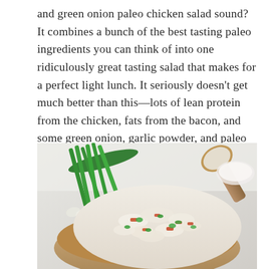and green onion paleo chicken salad sound? It combines a bunch of the best tasting paleo ingredients you can think of into one ridiculously great tasting salad that makes for a perfect light lunch. It seriously doesn't get much better than this—lots of lean protein from the chicken, fats from the bacon, and some green onion, garlic powder, and paleo mayonnaise helps to round up the whole package. This is one salad recipe that you'll keep coming back to because it packs a lot of flavor without much prep time.
[Figure (photo): A close-up photo of paleo chicken salad with green onions, bacon bits, and mayonnaise in a wooden bowl, with fresh green onions (scallions) visible in the background and a wooden spoon to the right.]